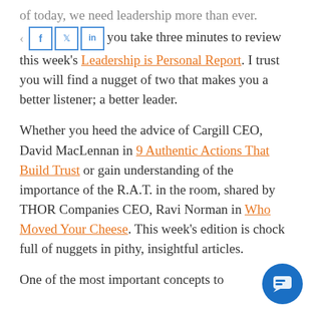of today, we need leadership more than ever.
This week I hope you take three minutes to review this week's Leadership is Personal Report. I trust you will find a nugget of two that makes you a better listener; a better leader.
Whether you heed the advice of Cargill CEO, David MacLennan in 9 Authentic Actions That Build Trust or gain understanding of the importance of the R.A.T. in the room, shared by THOR Companies CEO, Ravi Norman in Who Moved Your Cheese. This week's edition is chock full of nuggets in pithy, insightful articles.
One of the most important concepts to